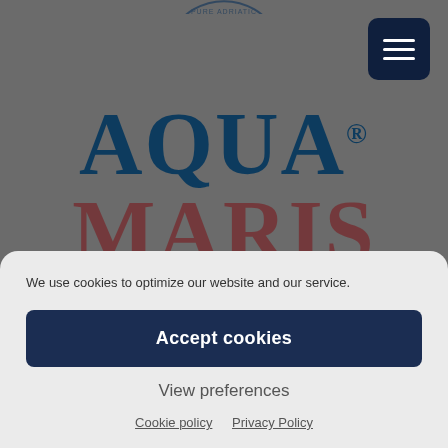[Figure (screenshot): Aqua Maris website screenshot showing the brand logo 'AQUA MARIS' in dark blue and dark red large serif text on a grey background, with a hamburger menu button in top right corner and partial circular logo at top center]
We use cookies to optimize our website and our service.
Accept cookies
View preferences
Cookie policy   Privacy Policy